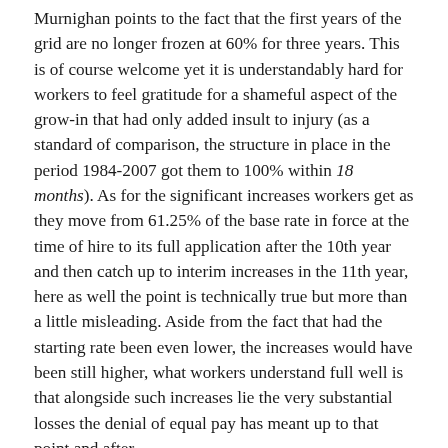Murnighan points to the fact that the first years of the grid are no longer frozen at 60% for three years. This is of course welcome yet it is understandably hard for workers to feel gratitude for a shameful aspect of the grow-in that had only added insult to injury (as a standard of comparison, the structure in place in the period 1984-2007 got them to 100% within 18 months). As for the significant increases workers get as they move from 61.25% of the base rate in force at the time of hire to its full application after the 10th year and then catch up to interim increases in the 11th year, here as well the point is technically true but more than a little misleading. Aside from the fact that had the starting rate been even lower, the increases would have been still higher, what workers understand full well is that alongside such increases lie the very substantial losses the denial of equal pay has meant up to that point and after.
In making the union’s case in this regard, Murnighan cites the example of someone with 2 years of seniority immediately getting an 11% increase relative to the old agreement followed